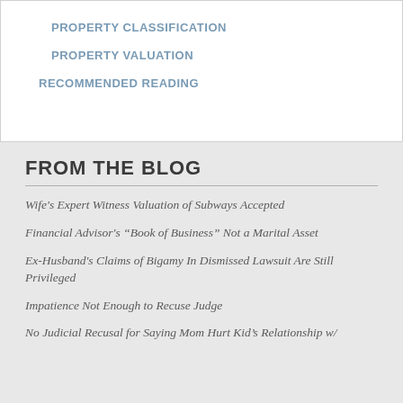PROPERTY CLASSIFICATION
PROPERTY VALUATION
RECOMMENDED READING
FROM THE BLOG
Wife's Expert Witness Valuation of Subways Accepted
Financial Advisor's “Book of Business” Not a Marital Asset
Ex-Husband's Claims of Bigamy In Dismissed Lawsuit Are Still Privileged
Impatience Not Enough to Recuse Judge
No Judicial Recusal for Saying Mom Hurt Kid’s Relationship w/